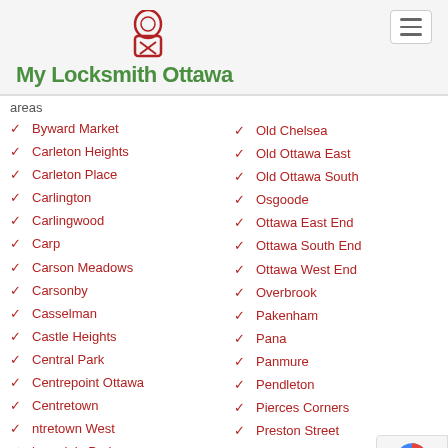My Locksmith Ottawa
areas
Byward Market
Carleton Heights
Carleton Place
Carlington
Carlingwood
Carp
Carson Meadows
Carsonby
Casselman
Castle Heights
Central Park
Centrepoint Ottawa
Centretown
Centretown West
Champlain Park
Chinatown Ottawa
Civic Hospital
Old Chelsea
Old Ottawa East
Old Ottawa South
Osgoode
Ottawa East End
Ottawa South End
Ottawa West End
Overbrook
Pakenham
Pana
Panmure
Pendleton
Pierces Corners
Preston Street
Qualicum
Queensway Terrace North
Ouyon